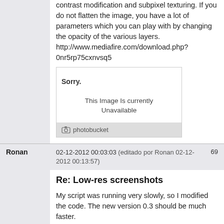contrast modification and subpixel texturing. If you do not flatten the image, you have a lot of parameters which you can play with by changing the opacity of the various layers. http://www.mediafire.com/download.php?0nr5rp75cxnvsq5
[Figure (screenshot): Photobucket placeholder image showing 'Sorry. This Image Is currently Unavailable' with photobucket logo at bottom]
Ronan
02-12-2012 00:03:03 (editado por Ronan 02-12-2012 00:13:57)
69
Re: Low-res screenshots
My script was running very slowly, so I modified the code. The new version 0.3 should be much faster.
http://www.mediafire.com/?ob4cvs1ftckny4v